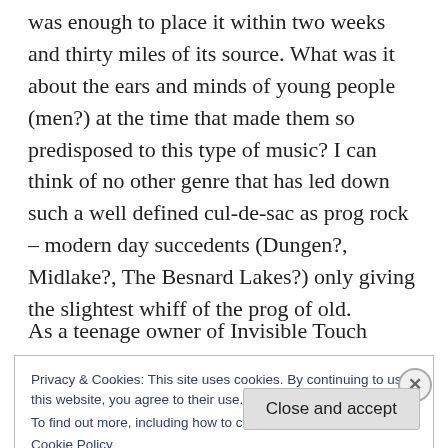was enough to place it within two weeks and thirty miles of its source. What was it about the ears and minds of young people (men?) at the time that made them so predisposed to this type of music? I can think of no other genre that has led down such a well defined cul-de-sac as prog rock – modern day succedents (Dungen?, Midlake?, The Besnard Lakes?) only giving the slightest whiff of the prog of old.
As a teenage owner of Invisible Touch
Privacy & Cookies: This site uses cookies. By continuing to use this website, you agree to their use.
To find out more, including how to control cookies, see here: Cookie Policy